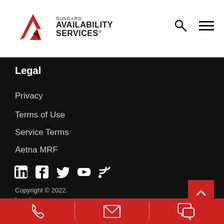[Figure (logo): Sungard Availability Services logo with red angular mark and text]
Legal
Privacy
Terms of Use
Service Terms
Aetna MRF
[Figure (infographic): Social media icons: LinkedIn, Facebook, Twitter, YouTube, RSS]
Copyright © 2022.
Legal
[Figure (infographic): Red contact bar with phone, email, and chat icons]